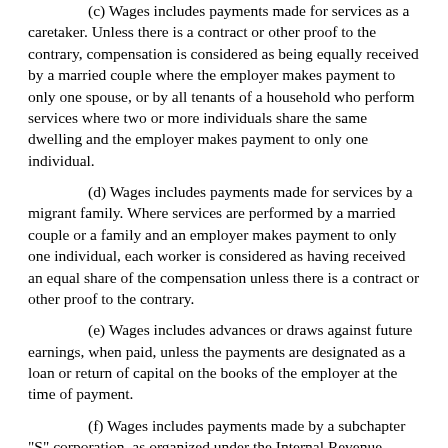(c) Wages includes payments made for services as a caretaker. Unless there is a contract or other proof to the contrary, compensation is considered as being equally received by a married couple where the employer makes payment to only one spouse, or by all tenants of a household who perform services where two or more individuals share the same dwelling and the employer makes payment to only one individual.
(d) Wages includes payments made for services by a migrant family. Where services are performed by a married couple or a family and an employer makes payment to only one individual, each worker is considered as having received an equal share of the compensation unless there is a contract or other proof to the contrary.
(e) Wages includes advances or draws against future earnings, when paid, unless the payments are designated as a loan or return of capital on the books of the employer at the time of payment.
(f) Wages includes payments made by a subchapter "S" corporation, as organized under the Internal Revenue Code, to or on behalf of officers and shareholders that are